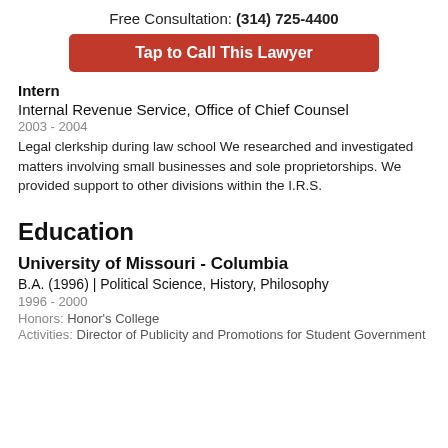Free Consultation: (314) 725-4400
Tap to Call This Lawyer
Intern
Internal Revenue Service, Office of Chief Counsel
2003 - 2004
Legal clerkship during law school We researched and investigated matters involving small businesses and sole proprietorships. We provided support to other divisions within the I.R.S.
Education
University of Missouri - Columbia
B.A. (1996)  |  Political Science, History, Philosophy
1996 - 2000
Honors: Honor's College
Activities: Director of Publicity and Promotions for Student Government